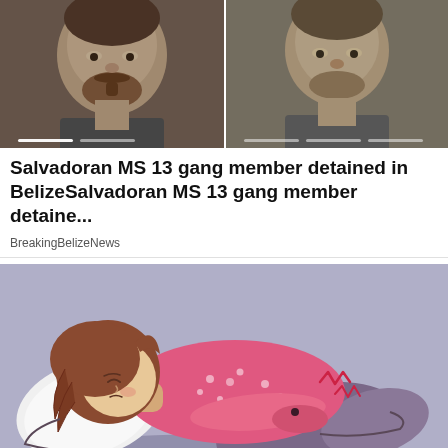[Figure (photo): Photo strip showing two mugshot-style photos of men, with a progress/slideshow indicator bar at the bottom]
Salvadoran MS 13 gang member detained in BelizeSalvadoran MS 13 gang member detaine...
BreakingBelizeNews
[Figure (illustration): Cartoon illustration of a woman lying on her side on a pillow, holding her stomach in pain, with pain lines indicating cramps. Purple/lavender background.]
Signs of Ulcerative Colitis (Catching It Early